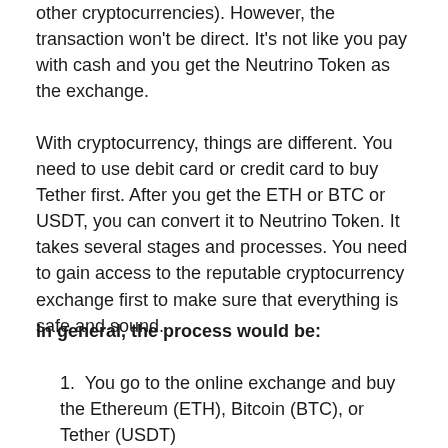other cryptocurrencies). However, the transaction won't be direct. It's not like you pay with cash and you get the Neutrino Token as the exchange.
With cryptocurrency, things are different. You need to use debit card or credit card to buy Tether first. After you get the ETH or BTC or USDT, you can convert it to Neutrino Token. It takes several stages and processes. You need to gain access to the reputable cryptocurrency exchange first to make sure that everything is safe and sound.
In general, the process would be:
You go to the online exchange and buy the Ethereum (ETH), Bitcoin (BTC), or Tether (USDT)